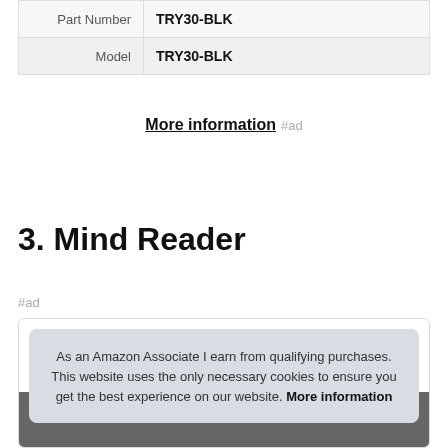| Part Number | TRY30-BLK |
| Model | TRY30-BLK |
More information #ad
3. Mind Reader
#ad
As an Amazon Associate I earn from qualifying purchases. This website uses the only necessary cookies to ensure you get the best experience on our website. More information